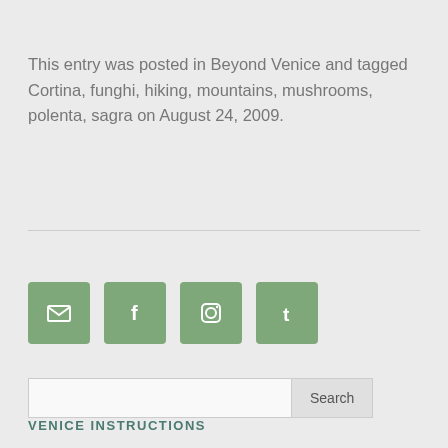This entry was posted in Beyond Venice and tagged Cortina, funghi, hiking, mountains, mushrooms, polenta, sagra on August 24, 2009.
[Figure (infographic): Four social media icon buttons: Email, Facebook, Instagram, Tumblr — green rounded square buttons with white icons]
[Figure (other): Search input field with Search button]
VENICE INSTRUCTIONS